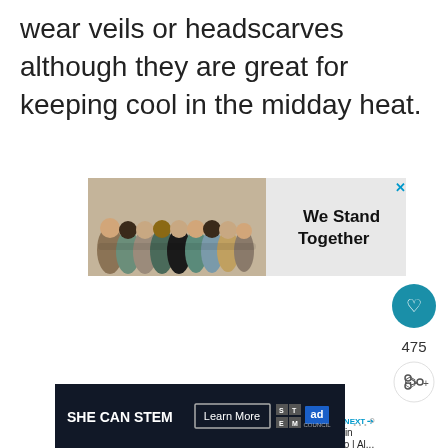wear veils or headscarves although they are great for keeping cool in the midday heat.
[Figure (screenshot): Advertisement banner showing a group of diverse people with arms around each other viewed from behind, with text 'We Stand Together' and a close button (X) in the top right corner.]
[Figure (screenshot): Social media UI showing a heart/like button (teal circle with heart icon), a like count of 475, and a share button (circle with share icon).]
[Figure (screenshot): What's Next panel showing a thumbnail image and text 'WHAT'S NEXT → Driving in Morocco | Al...']
[Figure (screenshot): Advertisement banner with dark background reading 'SHE CAN STEM' with a 'Learn More' button, STEM grid logo, Ad Council logo, and additional UI elements.]